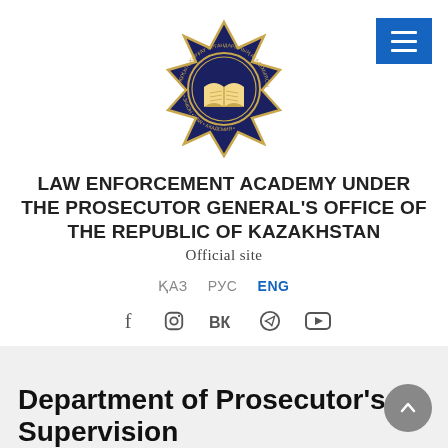[Figure (logo): Official seal/emblem of the Law Enforcement Academy under the Prosecutor General's Office of the Republic of Kazakhstan — dark blue star-shaped badge with gold open book at center and text around the border]
LAW ENFORCEMENT ACADEMY UNDER THE PROSECUTOR GENERAL'S OFFICE OF THE REPUBLIC OF KAZAKHSTAN
Official site
ҚАЗ   РУС   ENG
[Figure (infographic): Social media icons: Facebook, Instagram, VK, Telegram, YouTube]
Department of Prosecutor's Supervision